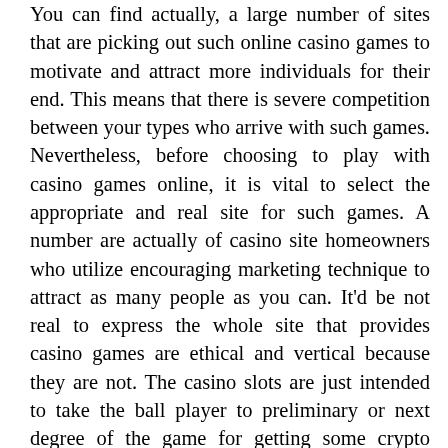You can find actually, a large number of sites that are picking out such online casino games to motivate and attract more individuals for their end. This means that there is severe competition between your types who arrive with such games. Nevertheless, before choosing to play with casino games online, it is vital to select the appropriate and real site for such games. A number are actually of casino site homeowners who utilize encouraging marketing technique to attract as many people as you can. It'd be not real to express the whole site that provides casino games are ethical and vertical because they are not. The casino slots are just intended to take the ball player to preliminary or next degree of the game for getting some crypto currency. Avail the benefit of online casino with best sbobet agent. There is without doubt there are several site exists who just access it with repairing people using their resources. Certainly, you could have your religion in enjoying